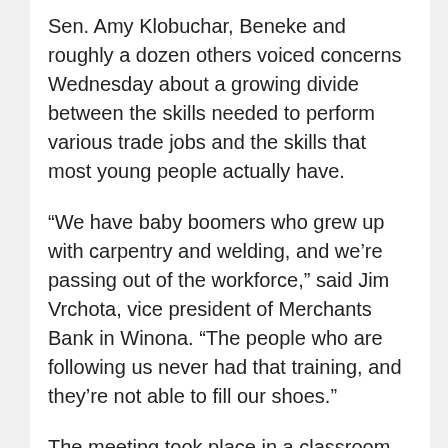Sen. Amy Klobuchar, Beneke and roughly a dozen others voiced concerns Wednesday about a growing divide between the skills needed to perform various trade jobs and the skills that most young people actually have.
“We have baby boomers who grew up with carpentry and welding, and we’re passing out of the workforce,” said Jim Vrchota, vice president of Merchants Bank in Winona. “The people who are following us never had that training, and they’re not able to fill our shoes.”
The meeting took place in a classroom at Minnesota State College Southeast, and much of the conversation centered on how the college is trying to reach local high-schoolers before they